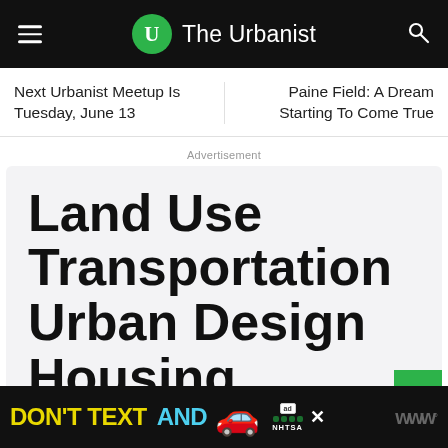The Urbanist
Next Urbanist Meetup Is Tuesday, June 13
Paine Field: A Dream Starting To Come True
Advertisement
Land Use Transportation Urban Design Housing
[Figure (infographic): Bottom banner advertisement: DON'T TEXT AND [car emoji] ad NHTSA]